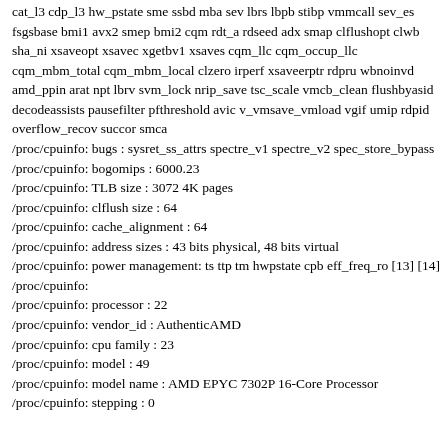cat_l3 cdp_l3 hw_pstate sme ssbd mba sev lbrs lbpb stibp vmmcall sev_es fsgsbase bmi1 avx2 smep bmi2 cqm rdt_a rdseed adx smap clflushopt clwb sha_ni xsaveopt xsavec xgetbv1 xsaves cqm_llc cqm_occup_llc cqm_mbm_total cqm_mbm_local clzero irperf xsaveerptr rdpru wbnoinvd amd_ppin arat npt lbrv svm_lock nrip_save tsc_scale vmcb_clean flushbyasid decodeassists pausefilter pfthreshold avic v_vmsave_vmload vgif umip rdpid overflow_recov succor smca
/proc/cpuinfo: bugs : sysret_ss_attrs spectre_v1 spectre_v2 spec_store_bypass
/proc/cpuinfo: bogomips : 6000.23
/proc/cpuinfo: TLB size : 3072 4K pages
/proc/cpuinfo: clflush size : 64
/proc/cpuinfo: cache_alignment : 64
/proc/cpuinfo: address sizes : 43 bits physical, 48 bits virtual
/proc/cpuinfo: power management: ts ttp tm hwpstate cpb eff_freq_ro [13] [14]
/proc/cpuinfo:
/proc/cpuinfo: processor : 22
/proc/cpuinfo: vendor_id : AuthenticAMD
/proc/cpuinfo: cpu family : 23
/proc/cpuinfo: model : 49
/proc/cpuinfo: model name : AMD EPYC 7302P 16-Core Processor
/proc/cpuinfo: stepping : 0